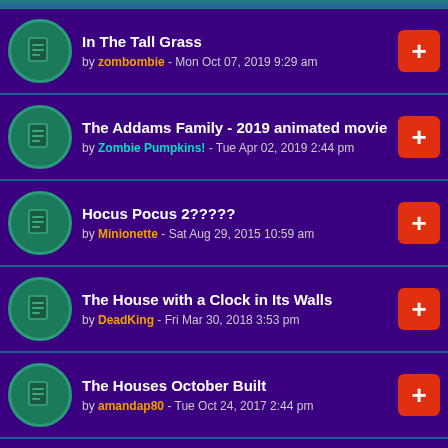In The Tall Grass by zombombie - Mon Oct 07, 2019 9:29 am
The Addams Family - 2019 animated movie by Zombie Pumpkins! - Tue Apr 02, 2019 2:44 pm
Hocus Pocus 2????? by Minionette - Sat Aug 29, 2015 10:59 am
The House with a Clock in Its Walls by DeadKing - Fri Mar 30, 2018 3:53 pm
The Houses October Built by amandap80 - Tue Oct 24, 2017 2:44 pm
HALLOWEEN (2018) by SuperSonic - Wed Sep 05, 2018 12:16 pm